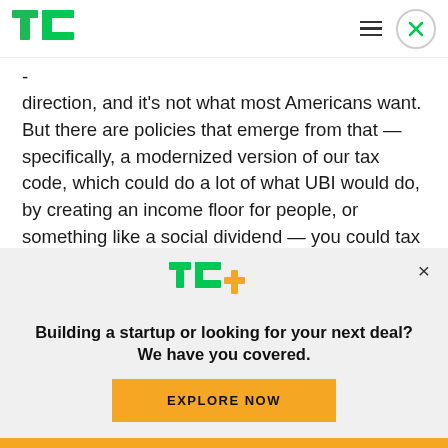TechCrunch logo, navigation menu, close button
direction, and it’s not what most Americans want. But there are policies that emerge from that — specifically, a modernized version of our tax code, which could do a lot of what UBI would do, by creating an income floor for people, or something like a social dividend — you could tax carbon, you could tax data and distribute a check to everybody.”
[Figure (logo): TechCrunch TC+ logo with green TC and yellow plus sign]
Building a startup or looking for your next deal? We have you covered.
EXPLORE NOW